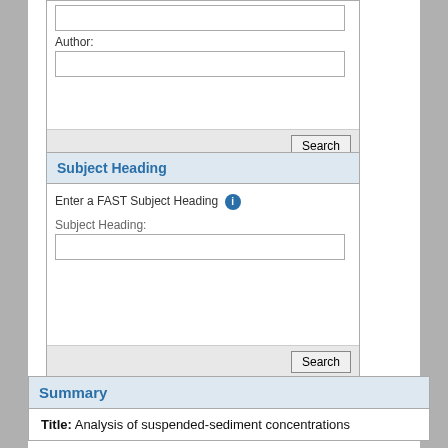Author:
Search
Subject Heading
Enter a FAST Subject Heading
Subject Heading:
Search
Summary
Title: Analysis of suspended-sediment concentrations